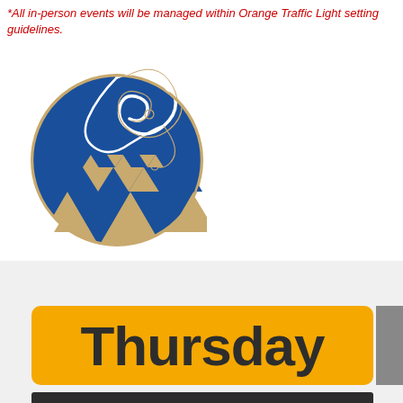*All in-person events will be managed within Orange Traffic Light setting guidelines.
[Figure (logo): Circular logo with blue background featuring Māori-style decorative elements: a stylized koru/wave design in white and gold at the top, and geometric triangular patterns in blue and gold/tan at the bottom.]
Thursday